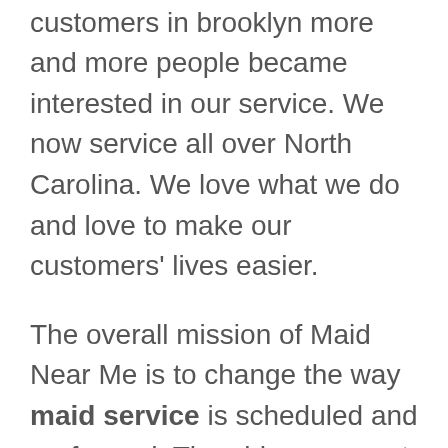as we started helping our customers in brooklyn more and more people became interested in our service. We now service all over North Carolina. We love what we do and love to make our customers' lives easier.
The overall mission of Maid Near Me is to change the way maid service is scheduled and performed. The old way meant you used to have to schedule an in-home estimate with a cleaning company and then if you wanted to shop around you'd have to schedule multiple estimates. That means more time you have to take off work or away from your family in to meet new cleaners and get a simple price for a cleaning service. We've flipped that model upside